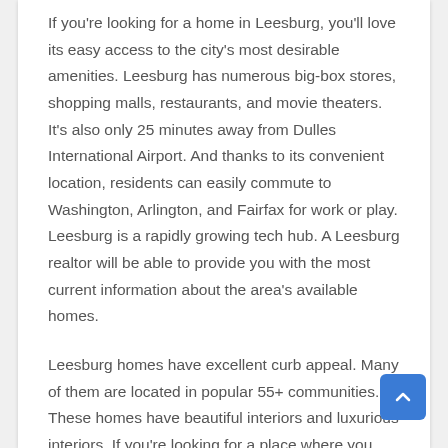If you're looking for a home in Leesburg, you'll love its easy access to the city's most desirable amenities. Leesburg has numerous big-box stores, shopping malls, restaurants, and movie theaters. It's also only 25 minutes away from Dulles International Airport. And thanks to its convenient location, residents can easily commute to Washington, Arlington, and Fairfax for work or play. Leesburg is a rapidly growing tech hub. A Leesburg realtor will be able to provide you with the most current information about the area's available homes.
Leesburg homes have excellent curb appeal. Many of them are located in popular 55+ communities. These homes have beautiful interiors and luxurious interiors. If you're looking for a place where you can enjoy the great outdoors, consider a home in the Plantation of Leesburg. There are many features to look for when